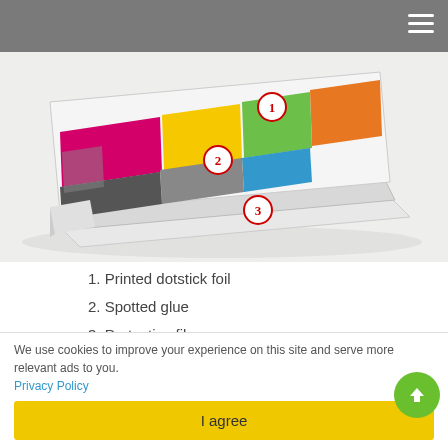[Figure (photo): 3D illustration of a layered mouse pad product showing three layers labeled with numbered callouts: 1. Printed dotstick foil (top), 2. Spotted glue (middle), 3. Protective film (bottom). The pad shows colorful printed graphics.]
1. Printed dotstick foil
2. Spotted glue
3. Protective film
THIN MOUSE PADS WITH DOTTED GLUE
We can remove it and apply again in another place. Mouse Pad is self-adhesive and sticks very well to the ground, leaving no traces
We use cookies to improve your experience on this site and serve more relevant ads to you.
Privacy Policy
I agree